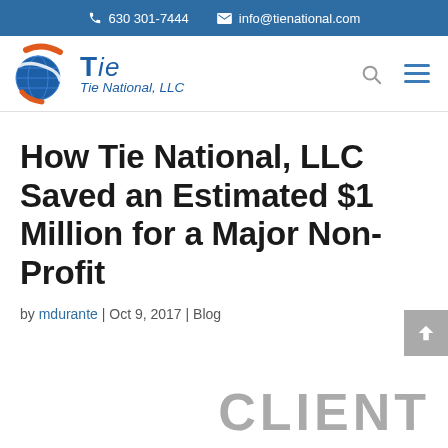630 301-7444  info@tienational.com
[Figure (logo): Tie National, LLC logo with globe and swoosh graphic in blue and orange]
How Tie National, LLC Saved an Estimated $1 Million for a Major Non-Profit
by mdurante | Oct 9, 2017 | Blog
CLIENT